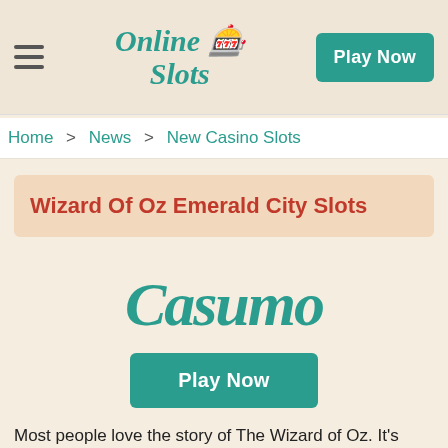Online Slots  |  Play Now
Home > News > New Casino Slots
Wizard Of Oz Emerald City Slots
[Figure (logo): Casumo casino logo in teal cursive script]
Play Now
Most people love the story of The Wizard of Oz. It's timeless, which is probably why we have seen a few slot games based on it. It transfers well to the realm of a